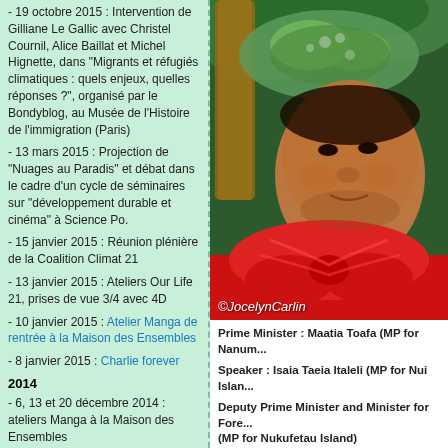- 19 octobre 2015 : Intervention de Gilliane Le Gallic avec Christel Cournil, Alice Baillat et Michel Hignette, dans "Migrants et réfugiés climatiques : quels enjeux, quelles réponses ?", organisé par le Bondyblog, au Musée de l'Histoire de l'immigration (Paris)
- 13 mars 2015 : Projection de "Nuages au Paradis" et débat dans le cadre d'un cycle de séminaires sur "développement durable et cinéma" à Science Po.
- 15 janvier 2015 : Réunion plénière de la Coalition Climat 21
- 13 janvier 2015 : Ateliers Our Life 21, prises de vue 3/4 avec 4D
- 10 janvier 2015 : Atelier Manga de rentrée à la Maison des Ensembles
- 8 janvier 2015 : Charlie forever
2014
- 6, 13 et 20 décembre 2014 : ateliers Manga à la Maison des Ensembles
[Figure (photo): Portrait of a man wearing a traditional floral headdress and red clothing, photo credit ©JocelynCarlin]
Prime Minister : Maatia Toafa (MP for Nanum...
Speaker : Isaia Taeia Italeli (MP for Nui Islan...
Deputy Prime Minister and Minister for Fore... (MP for Nukufetau Island)
Minister for Public Works and Natural Resou...